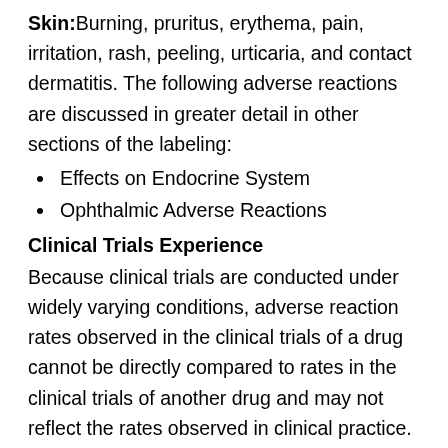Skin: Burning, pruritus, erythema, pain, irritation, rash, peeling, urticaria, and contact dermatitis. The following adverse reactions are discussed in greater detail in other sections of the labeling:
Effects on Endocrine System
Ophthalmic Adverse Reactions
Clinical Trials Experience
Because clinical trials are conducted under widely varying conditions, adverse reaction rates observed in the clinical trials of a drug cannot be directly compared to rates in the clinical trials of another drug and may not reflect the rates observed in clinical practice.
In a controlled clinical trial involving 188 subjects with psoriasis of the scalp, there were no localized scalp adverse reactions reported in the subjects